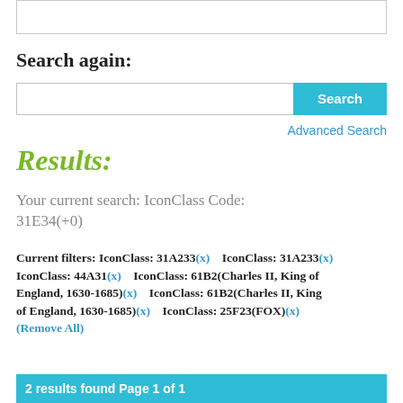Search again:
Search [input box] [Search button] Advanced Search
Results:
Your current search: IconClass Code: 31E34(+0)
Current filters: IconClass: 31A233(x)   IconClass: 31A233(x)   IconClass: 44A31(x)   IconClass: 61B2(Charles II, King of England, 1630-1685)(x)   IconClass: 61B2(Charles II, King of England, 1630-1685)(x)   IconClass: 25F23(FOX)(x)   (Remove All)
2 results found Page 1 of 1